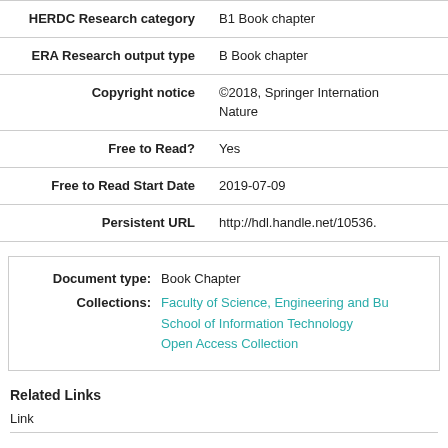| Field | Value |
| --- | --- |
| HERDC Research category | B1 Book chapter |
| ERA Research output type | B Book chapter |
| Copyright notice | ©2018, Springer Internation Nature |
| Free to Read? | Yes |
| Free to Read Start Date | 2019-07-09 |
| Persistent URL | http://hdl.handle.net/10536. |
| Field | Value |
| --- | --- |
| Document type: | Book Chapter |
| Collections: | Faculty of Science, Engineering and Bu; School of Information Technology; Open Access Collection |
Related Links
Link